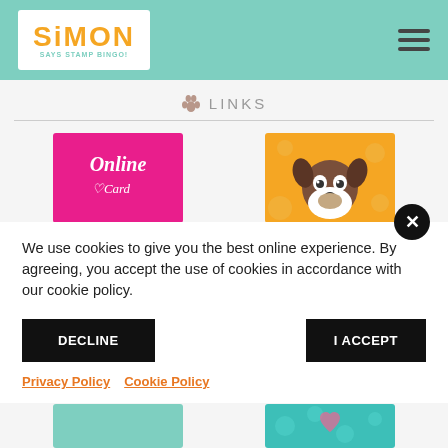[Figure (logo): Simon Says Stamp bingo logo - orange text on white background with teal header]
🐾 LINKS
[Figure (photo): Pink card with cursive 'Online Card' text]
[Figure (illustration): Orange background with cartoon Boston Terrier dog illustration]
We use cookies to give you the best online experience. By agreeing, you accept the use of cookies in accordance with our cookie policy.
DECLINE
I ACCEPT
Privacy Policy  Cookie Policy
[Figure (photo): Teal/mint colored card partially visible]
[Figure (illustration): Teal background with polka dots and pink heart partially visible]